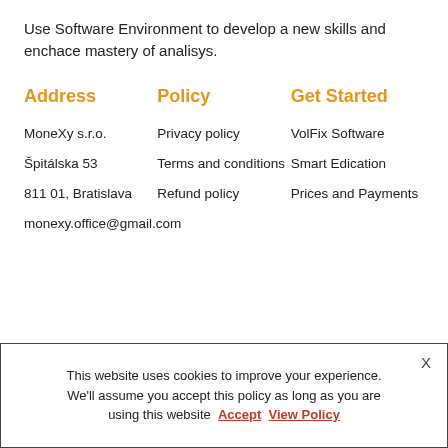Use Software Environment to develop a new skills and enchace mastery of analisys.
Address
Policy
Get Started
MoneXy s.r.o.
Špitálska 53
811 01, Bratislava
monexy.office@gmail.com
Privacy policy
Terms and conditions
Refund policy
VolFix Software
Smart Edication
Prices and Payments
This website uses cookies to improve your experience. We'll assume you accept this policy as long as you are using this website Accept View Policy